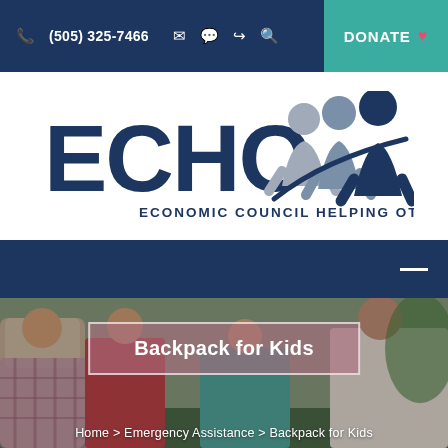(505) 325-7466  DONATE
[Figure (logo): ECHO - Economic Council Helping Others, Inc. logo with stylized human figures in blue and gray]
[Figure (other): Dark blue navigation bar with hamburger menu icon on right]
Backpack for Kids
Home > Emergency Assistance > Backpack for Kids